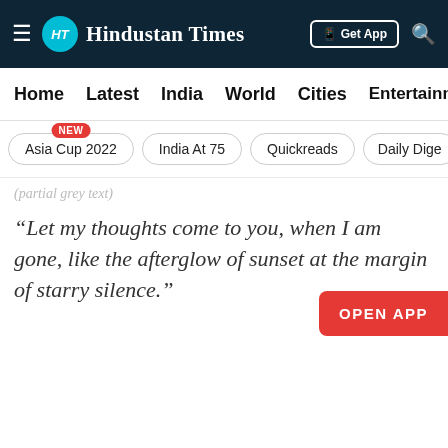Hindustan Times
Home  Latest  India  World  Cities  Entertainment
Asia Cup 2022 NEW
India At 75
Quickreads
Daily Dige
“Let my thoughts come to you, when I am gone, like the afterglow of sunset at the margin of starry silence.”